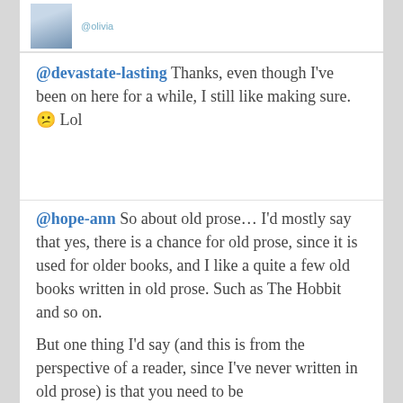[Figure (photo): Partial view of a person's photo (avatar) with blue clothing, and handle @olivia shown next to it]
@devastate-lasting Thanks, even though I've been on here for a while, I still like making sure. 😊 Lol
@hope-ann So about old prose… I'd mostly say that yes, there is a chance for old prose, since it is used for older books, and I like a quite a few old books written in old prose. Such as The Hobbit and so on.
But one thing I'd say (and this is from the perspective of a reader, since I've never written in old prose) is that you need to be